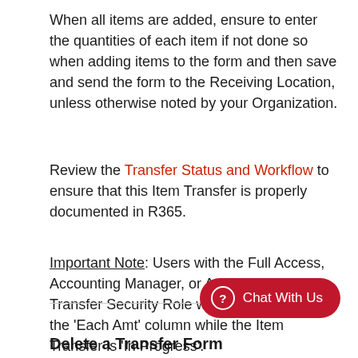When all items are added, ensure to enter the quantities of each item if not done so when adding items to the form and then save and send the form to the Receiving Location, unless otherwise noted by your Organization.
Review the Transfer Status and Workflow to ensure that this Item Transfer is properly documented in R365.
Important Note: Users with the Full Access, Accounting Manager, or Approve Item Transfer Security Role will be able to update the 'Each Amt' column while the Item Transfer is 'In Progress'.
Delete a Transfer Form